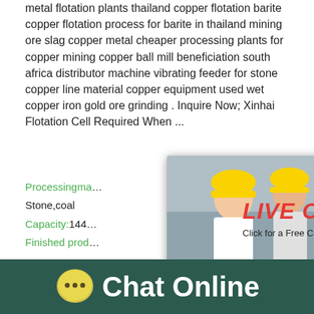metal flotation plants thailand copper flotation barite copper flotation process for barite in thailand mining ore slag copper metal cheaper processing plants for copper mining copper ball mill beneficiation south africa distributor machine vibrating feeder for stone copper line material copper equipment used wet copper iron gold ore grinding . Inquire Now; Xinhai Flotation Cell Required When ...
Processingma... hour online Stone,coal Capacity:144... Finished prod...
[Figure (screenshot): Live Chat popup overlay with workers in hard hats, red LIVE CHAT italic text, 'Click for a Free Consultation' subtitle, red 'Chat now' button and dark 'Chat later' button, with close X button]
[Figure (screenshot): Right side blue panel with 'hour online' text and industrial cone crusher machine image, with 'Click me to chat>>' blue button at bottom]
[Figure (screenshot): Blue sky background image strip at bottom of page content]
[Figure (screenshot): Dark green footer bar with yellow speech bubble icon and 'Chat Online' text in white]